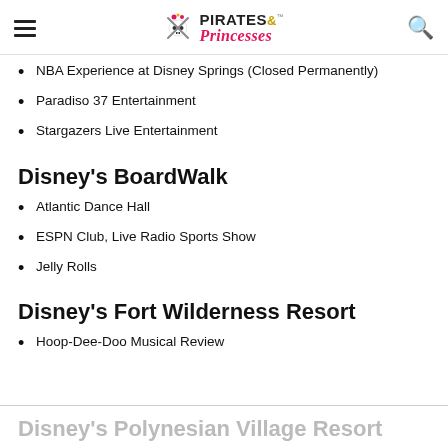Pirates & Princesses
NBA Experience at Disney Springs (Closed Permanently)
Paradiso 37 Entertainment
Stargazers Live Entertainment
Disney's BoardWalk
Atlantic Dance Hall
ESPN Club, Live Radio Sports Show
Jelly Rolls
Disney's Fort Wilderness Resort
Hoop-Dee-Doo Musical Review
Disney's Polynesian Village Resort